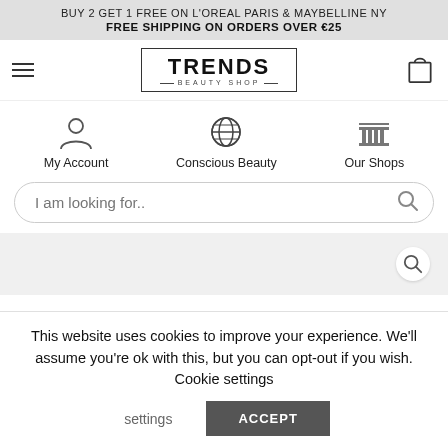BUY 2 GET 1 FREE ON L'OREAL PARIS & MAYBELLINE NY
FREE SHIPPING ON ORDERS OVER €25
[Figure (logo): Trends Beauty Shop logo in bordered box with hamburger menu and shopping bag icon]
[Figure (infographic): Three icons: My Account (person silhouette), Conscious Beauty (globe), Our Shops (building/columns)]
[Figure (screenshot): Search bar with placeholder text 'I am looking for..' and search icon]
[Figure (screenshot): Gray area with search icon button on the right]
This website uses cookies to improve your experience. We'll assume you're ok with this, but you can opt-out if you wish. Cookie settings
ACCEPT